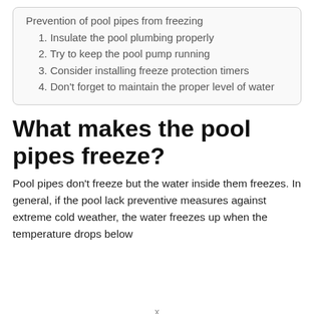Prevention of pool pipes from freezing
1. Insulate the pool plumbing properly
2. Try to keep the pool pump running
3. Consider installing freeze protection timers
4. Don't forget to maintain the proper level of water
What makes the pool pipes freeze?
Pool pipes don't freeze but the water inside them freezes. In general, if the pool lack preventive measures against extreme cold weather, the water freezes up when the temperature drops below
x